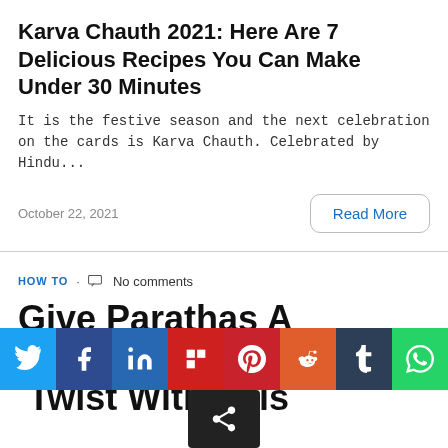Karva Chauth 2021: Here Are 7 Delicious Recipes You Can Make Under 30 Minutes
It is the festive season and the next celebration on the cards is Karva Chauth. Celebrated by Hindu...
October 22, 2021
Read More
HOW TO · No comments
Give Parathas A Nutritional Twist With This Pea...
[Figure (infographic): Social media sharing icons row: Twitter, Facebook, LinkedIn, Flipboard, Pinterest, Reddit, Tumblr, WhatsApp, and a share button]